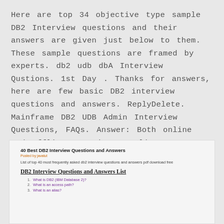Here are top 34 objective type sample DB2 Interview questions and their answers are given just below to them. These sample questions are framed by experts. db2 udb dbA Interview Qustions. 1st Day . Thanks for answers, here are few basic DB2 interview questions and answers. ReplyDelete. Mainframe DB2 UDB Admin Interview Questions, FAQs. Answer: Both online and offline are there, online reorg allows other transaction to.
[Figure (screenshot): Screenshot of a webpage titled '40 Best DB2 Interview Questions and Answers' with a subtitle 'DB2 Interview Questions and Answers List' and a numbered list of links including 'What is DB2 (IBM Database 2)?', 'What is an access path?', and 'What is an alias?']